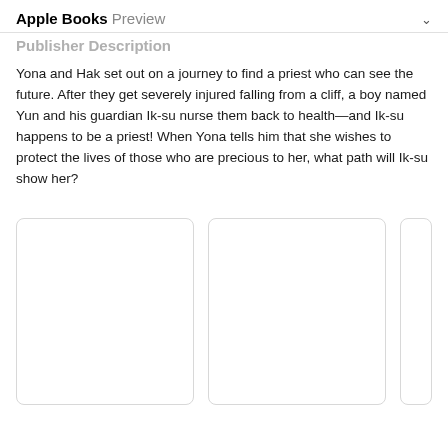Apple Books Preview
Publisher Description
Yona and Hak set out on a journey to find a priest who can see the future. After they get severely injured falling from a cliff, a boy named Yun and his guardian Ik-su nurse them back to health—and Ik-su happens to be a priest! When Yona tells him that she wishes to protect the lives of those who are precious to her, what path will Ik-su show her?
[Figure (other): Two blank white book preview cards side by side with rounded corners and light gray borders, partially visible third card on the right edge]